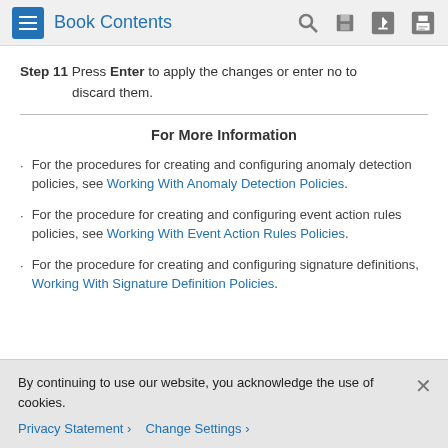Book Contents
Step 11 Press Enter to apply the changes or enter no to discard them.
For More Information
For the procedures for creating and configuring anomaly detection policies, see Working With Anomaly Detection Policies.
For the procedure for creating and configuring event action rules policies, see Working With Event Action Rules Policies.
For the procedure for creating and configuring signature definitions, Working With Signature Definition Policies.
By continuing to use our website, you acknowledge the use of cookies.
Privacy Statement > Change Settings >